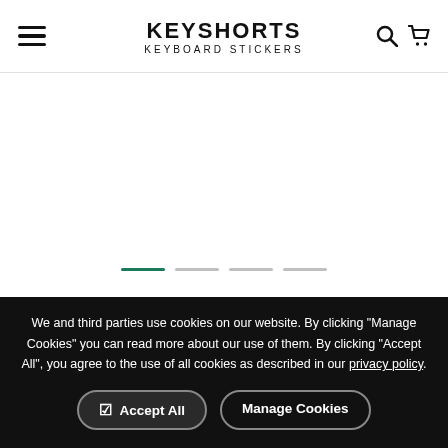KEYSHORTS KEYBOARD STICKERS
[Figure (other): Carousel/slider image area with slide indicator dots below — 4 dots, first dot is green (active), three are grey (inactive)]
Unicorn Sky MacBook Keyboard Stickers
We and third parties use cookies on our website. By clicking "Manage Cookies" you can read more about our use of them. By clicking "Accept All", you agree to the use of all cookies as described in our privacy policy.